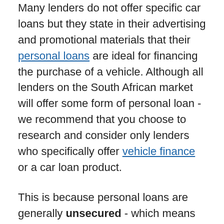Many lenders do not offer specific car loans but they state in their advertising and promotional materials that their personal loans are ideal for financing the purchase of a vehicle. Although all lenders on the South African market will offer some form of personal loan - we recommend that you choose to research and consider only lenders who specifically offer vehicle finance or a car loan product.
This is because personal loans are generally unsecured - which means you will end up paying a higher interest rate than you would with a regular, secured car loan. Another factor to consider is that those offering personal loans are not specialists in vehicle finance and will be unlikely to offer you critical advice such as what the market price for the car you are looking to buy is.
This advice could save you thousands of Rands - especially if you're considering using a private dealership or buying from a